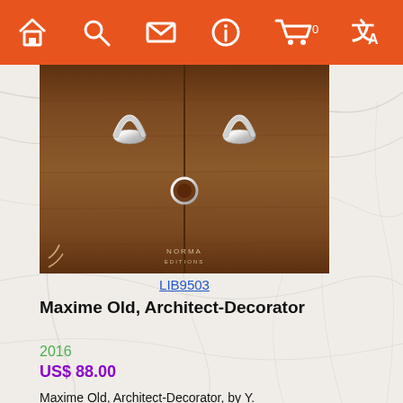Navigation bar with home, search, mail, info, cart (0), translate icons
[Figure (photo): Book cover for 'Maxime Old, Architect-Decorator' showing a wooden surface with decorative silver door handles/pulls, warm brown tones, with 'NORMA EDITIONS' text at bottom. Item code LIB9503.]
LIB9503
Maxime Old, Architect-Decorator
2016
US$ 88.00
Maxime Old, Architect-Decorator, by Y. Badetz, Ed.Norma, 9 inches x 12 inches ( 23 cm x 30.5 cm ), hardcover book with 328 color pages
[Figure (photo): Partial view of another book cover at the bottom of the page, appears to show 'Einfach Leben' text with decorative imagery.]